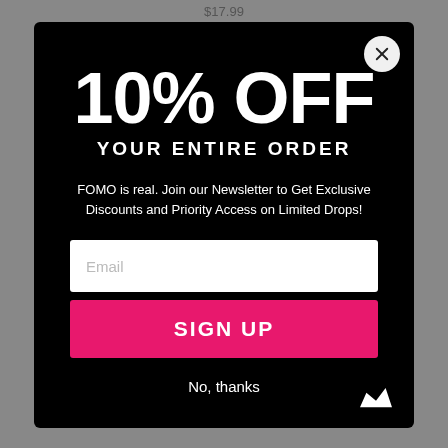$17.99
10% OFF
YOUR ENTIRE ORDER
FOMO is real. Join our Newsletter to Get Exclusive Discounts and Priority Access on Limited Drops!
Email
SIGN UP
No, thanks